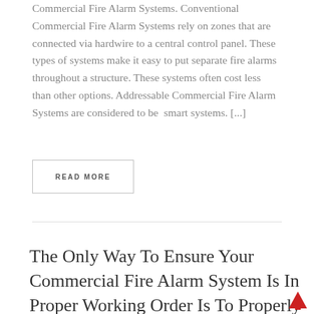Commercial Fire Alarm Systems. Conventional Commercial Fire Alarm Systems rely on zones that are connected via hardwire to a central control panel. These types of systems make it easy to put separate fire alarms throughout a structure. These systems often cost less than other options. Addressable Commercial Fire Alarm Systems are considered to be  smart systems. [...]
READ MORE
The Only Way To Ensure Your Commercial Fire Alarm System Is In Proper Working Order Is To Properly Accomplish